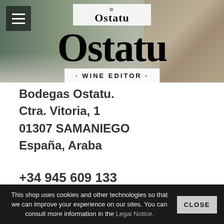[Figure (screenshot): Hero banner image showing Bodegas Ostatu winery exterior with stone wall background. Contains hamburger menu icon, Ostatu logo in white box, large 'Ostatu' text, and 'WINE EDITOR' subtitle bar.]
Bodegas Ostatu.
Ctra. Vitoria, 1
01307 SAMANIEGO
España, Araba
+34 945 609 133
+34 945 623 338
This shop uses cookies and other technologies so that we can improve your experience on our sites. You can consult more information in the Legal Notice.